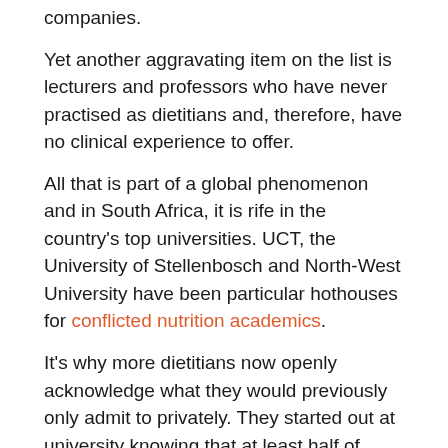companies.
Yet another aggravating item on the list is lecturers and professors who have never practised as dietitians and, therefore, have no clinical experience to offer.
All that is part of a global phenomenon and in South Africa, it is rife in the country's top universities. UCT, the University of Stellenbosch and North-West University have been particular hothouses for conflicted nutrition academics.
It's why more dietitians now openly acknowledge what they would previously only admit to privately. They started out at university knowing that at least half of what they would learn would be wrong.
They just didn't know which half – until now.
No one-size-fits-all diet
The Nutrition Network's LCHE course aims to redress that